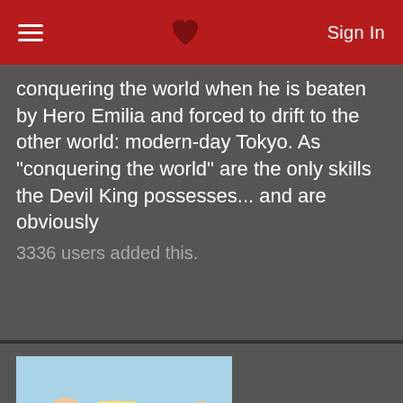Sign In
Devil King Sadao is only one step away from conquering the world when he is beaten by Hero Emilia and forced to drift to the other world: modern-day Tokyo. As "conquering the world" are the only skills the Devil King possesses... and are obviously
3336 users added this.
[Figure (illustration): Anime cover art for Sakurasou no Pet na Kanojo showing multiple anime characters in school uniforms]
Sakurasou no Pet na Kanojo [TV]
Tibbs gave it a 9.
The school romantic comedy revolves around a second-year high school student named Sorata Kanda who lives in Sakurasou, the dormitory for problem